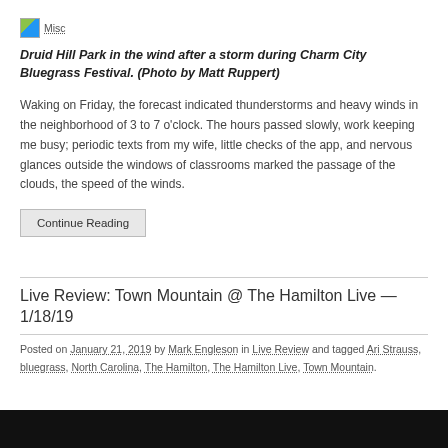[Figure (other): Misc icon/link image placeholder]
Druid Hill Park in the wind after a storm during Charm City Bluegrass Festival. (Photo by Matt Ruppert)
Waking on Friday, the forecast indicated thunderstorms and heavy winds in the neighborhood of 3 to 7 o'clock. The hours passed slowly, work keeping me busy; periodic texts from my wife, little checks of the app, and nervous glances outside the windows of classrooms marked the passage of the clouds, the speed of the winds.
Continue Reading
Live Review: Town Mountain @ The Hamilton Live — 1/18/19
Posted on January 21, 2019 by Mark Engleson in Live Review and tagged Ari Strauss, bluegrass, North Carolina, The Hamilton, The Hamilton Live, Town Mountain.
[Figure (photo): Dark image at bottom of page, partially visible]